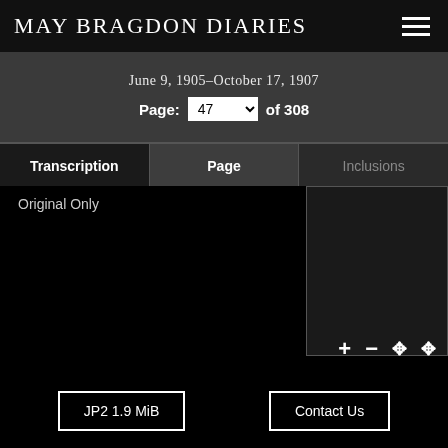May Bragdon Diaries
June 9, 1905-October 17, 1907
Page: 47 of 308
Transcription | Page | Inclusions
Original Only
[Figure (screenshot): Minimap/thumbnail preview box for diary page viewer]
+ − compress expand (zoom controls)
JP2 1.9 MiB
Contact Us